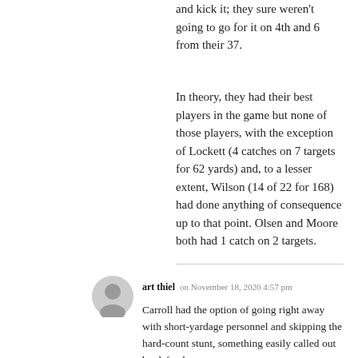and kick it; they sure weren't going to go for it on 4th and 6 from their 37.
In theory, they had their best players in the game but none of those players, with the exception of Lockett (4 catches on 7 targets for 62 yards) and, to a lesser extent, Wilson (14 of 22 for 168) had done anything of consequence up to that point. Olsen and Moore both had 1 catch on 2 targets.
art thiel on November 18, 2020 4:57 pm
Carroll had the option of going right away with short-yardage personnel and skipping the hard-count stunt, something easily called out by defenders.